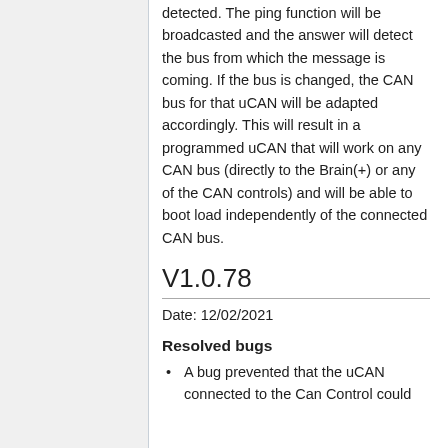detected. The ping function will be broadcasted and the answer will detect the bus from which the message is coming. If the bus is changed, the CAN bus for that uCAN will be adapted accordingly. This will result in a programmed uCAN that will work on any CAN bus (directly to the Brain(+) or any of the CAN controls) and will be able to boot load independently of the connected CAN bus.
V1.0.78
Date: 12/02/2021
Resolved bugs
A bug prevented that the uCAN connected to the Can Control could